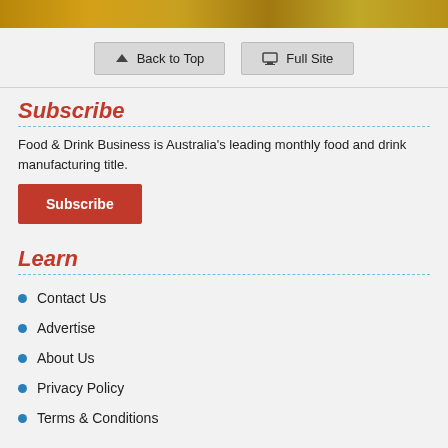[Figure (photo): Top image strip showing a blurred outdoor scene with warm golden/brown tones]
Back to Top
Full Site
Subscribe
Food & Drink Business is Australia's leading monthly food and drink manufacturing title.
Subscribe
Learn
Contact Us
Advertise
About Us
Privacy Policy
Terms & Conditions